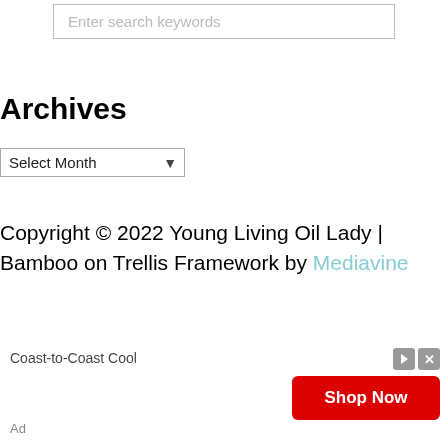Enter search keywords
Archives
Select Month
Copyright © 2022 Young Living Oil Lady | Bamboo on Trellis Framework by Mediavine
[Figure (screenshot): Advertisement banner showing 'Coast-to-Coast Cool' text, 'Ad' label, and a red 'Shop Now' button with small play and close icons]
Ad